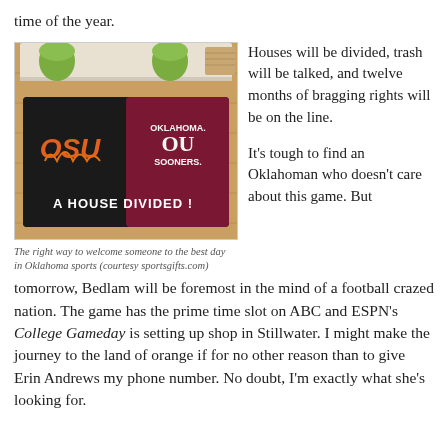time of the year.
[Figure (photo): A house divided rug showing OSU Cowboys and Oklahoma Sooners logos on a wooden floor beneath a coffee table with green plants]
The right way to welcome someone to the best day in Oklahoma sports (courtesy sportsgifts.com)
Houses will be divided, trash will be talked, and twelve months of bragging rights will be on the line.
It’s tough to find an Oklahoman who doesn’t care about this game.  But tomorrow, Bedlam will be foremost in the mind of a football crazed nation.  The game has the prime time slot on ABC and ESPN’s College Gameday is setting up shop in Stillwater.  I might make the journey to the land of orange if for no other reason than to give Erin Andrews my phone number.  No doubt, I’m exactly what she’s looking for.